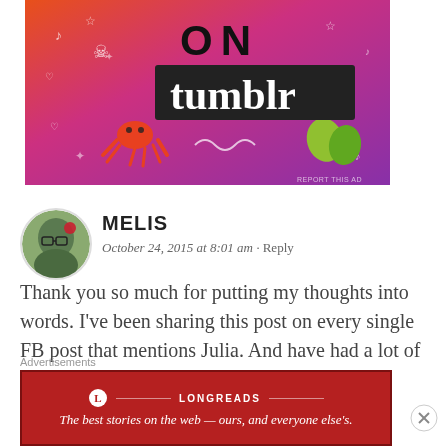[Figure (photo): Tumblr advertisement banner with orange-to-purple gradient background, white doodle icons, text 'ON tumblr' in bold. Small 'REPORT THIS AD' text in bottom right corner.]
MELIS
October 24, 2015 at 8:01 am · Reply
Thank you so much for putting my thoughts into words. I've been sharing this post on every single FB post that mentions Julia. And have had a lot of positive feedback. It still amazes me that
Advertisements
[Figure (logo): Longreads advertisement: red background with Longreads logo and text 'The best stories on the web — ours, and everyone else's.']